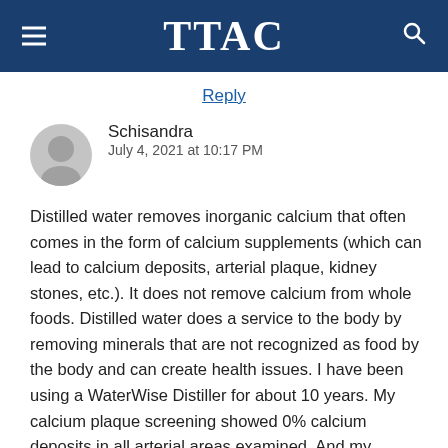TTAC
Reply
Schisandra
July 4, 2021 at 10:17 PM
Distilled water removes inorganic calcium that often comes in the form of calcium supplements (which can lead to calcium deposits, arterial plaque, kidney stones, etc.). It does not remove calcium from whole foods. Distilled water does a service to the body by removing minerals that are not recognized as food by the body and can create health issues. I have been using a WaterWise Distiller for about 10 years. My calcium plaque screening showed 0% calcium deposits in all arterial areas examined. And my calcium levels are always good. I use an herbal, whole food